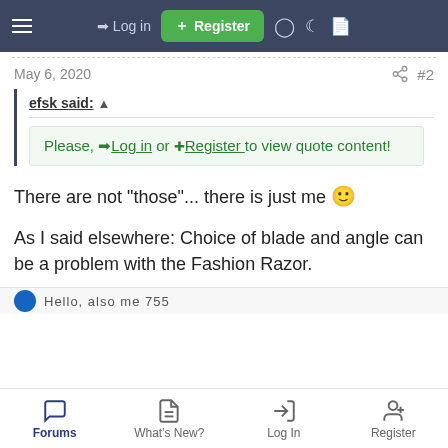≡  → Log in  ⊞ Register
May 6, 2020  #2
efsk said: ↑
Please, → Log in or ⊞ Register to view quote content!
There are not "those"... there is just me 🙂
As I said elsewhere: Choice of blade and angle can be a problem with the Fashion Razor.
Forums  What's New?  Log In  Register